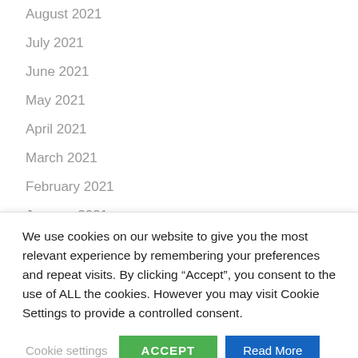August 2021
July 2021
June 2021
May 2021
April 2021
March 2021
February 2021
January 2021
December 2020
We use cookies on our website to give you the most relevant experience by remembering your preferences and repeat visits. By clicking “Accept”, you consent to the use of ALL the cookies. However you may visit Cookie Settings to provide a controlled consent.
Cookie settings | ACCEPT | Read More